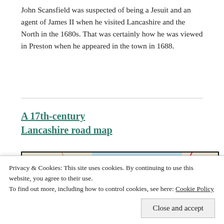John Scansfield was suspected of being a Jesuit and an agent of James II when he visited Lancashire and the North in the 1680s. That was certainly how he was viewed in Preston when he appeared in the town in 1688.
A 17th-century Lancashire road map
[Figure (map): A 17th-century Lancashire road map showing Morecambe Bay and surrounding area including Lancaster (Carnforth area), coastline, and roads.]
Privacy & Cookies: This site uses cookies. By continuing to use this website, you agree to their use.
To find out more, including how to control cookies, see here: Cookie Policy